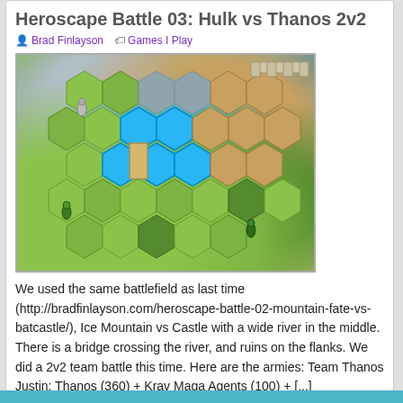Heroscape Battle 03: Hulk vs Thanos 2v2
Brad Finlayson   Games I Play
[Figure (photo): Photo of a Heroscape board game battlefield with hexagonal terrain tiles in green, blue, and brown, featuring miniature figures, a castle, bridge, and river.]
We used the same battlefield as last time (http://bradfinlayson.com/heroscape-battle-02-mountain-fate-vs-batcastle/), Ice Mountain vs Castle with a wide river in the middle. There is a bridge crossing the river, and ruins on the flanks. We did a 2v2 team battle this time. Here are the armies: Team Thanos Justin: Thanos (360) + Krav Maga Agents (100) + [...]
Tags: Gaming, Heroscape, Tabletop Games